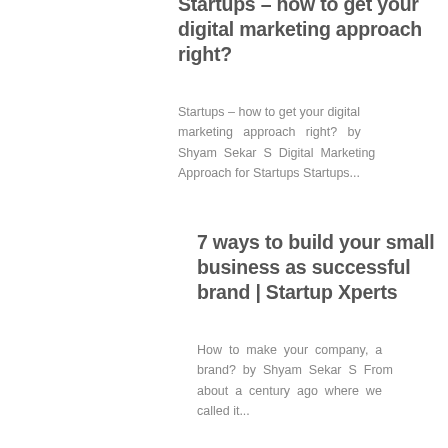Startups – how to get your digital marketing approach right?
Startups – how to get your digital marketing approach right? by Shyam Sekar S Digital Marketing Approach for Startups Startups...
7 ways to build your small business as successful brand | Startup Xperts
How to make your company, a brand? by Shyam Sekar S From about a century ago where we called it...